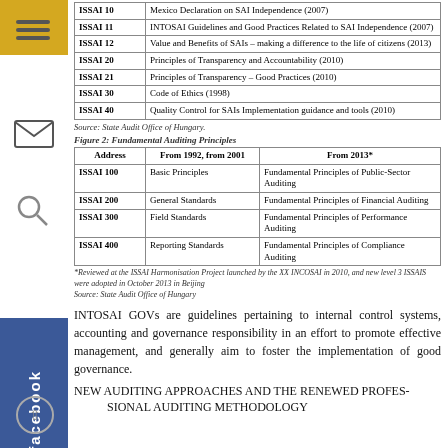|  |  |
| --- | --- |
| ISSAI 10 | Mexico Declaration on SAI Independence (2007) |
| ISSAI 11 | INTOSAI Guidelines and Good Practices Related to SAI Independence (2007) |
| ISSAI 12 | Value and Benefits of SAIs – making a difference to the life of citizens (2013) |
| ISSAI 20 | Principles of Transparency and Accountability (2010) |
| ISSAI 21 | Principles of Transparency – Good Practices (2010) |
| ISSAI 30 | Code of Ethics (1998) |
| ISSAI 40 | Quality Control for SAIs Implementation guidance and tools (2010) |
Source: State Audit Office of Hungary.
Figure 2: Fundamental Auditing Principles
| Address | From 1992, from 2001 | From 2013* |
| --- | --- | --- |
| ISSAI 100 | Basic Principles | Fundamental Principles of Public-Sector Auditing |
| ISSAI 200 | General Standards | Fundamental Principles of Financial Auditing |
| ISSAI 300 | Field Standards | Fundamental Principles of Performance Auditing |
| ISSAI 400 | Reporting Standards | Fundamental Principles of Compliance Auditing |
*Reviewed at the ISSAI Harmonisation Project launched by the XX INCOSAI in 2010, and new level 3 ISSAIS were adopted in October 2013 in Beijing
Source: State Audit Office of Hungary
INTOSAI GOVs are guidelines pertaining to internal control systems, accounting and governance responsibility in an effort to promote effective management, and generally aim to foster the implementation of good governance.
New auditing approaches and the renewed professional auditing methodology